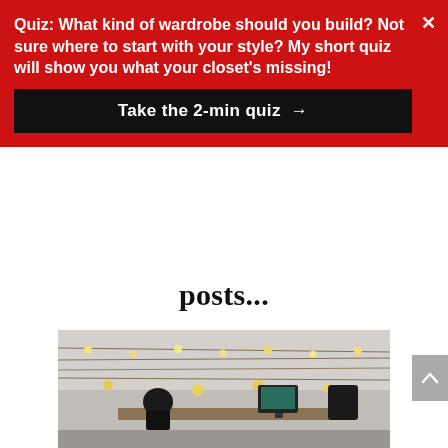Quiz: What kind of wardrobe should you build? Not sure where to start with your style? My short quiz will show you what your closet's missing!
Take the 2-min quiz →
posts...
[Figure (photo): Office or coworking space interior with string lights (Edison bulbs) hanging from the ceiling, people working at desks with computer monitors, dark chairs, industrial-style space with brick or white wall in background.]